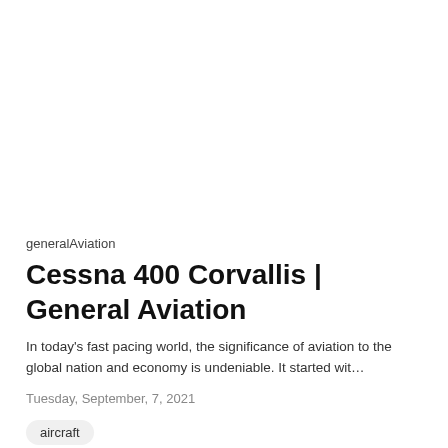generalAviation
Cessna 400 Corvallis | General Aviation
In today's fast pacing world, the significance of aviation to the global nation and economy is undeniable. It started wit…
Tuesday, September, 7, 2021
aircraft